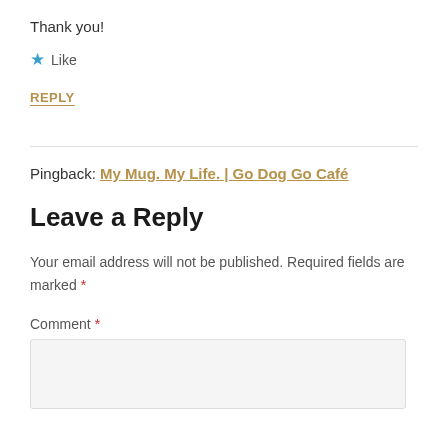Thank you!
★ Like
REPLY
Pingback: My Mug. My Life. | Go Dog Go Café
Leave a Reply
Your email address will not be published. Required fields are marked *
Comment *